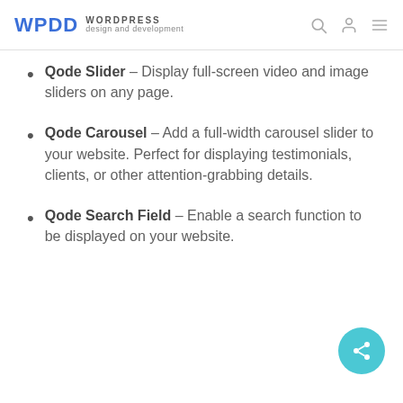WPDD WORDPRESS design and development
Qode Slider – Display full-screen video and image sliders on any page.
Qode Carousel – Add a full-width carousel slider to your website. Perfect for displaying testimonials, clients, or other attention-grabbing details.
Qode Search Field – Enable a search function to be displayed on your website.